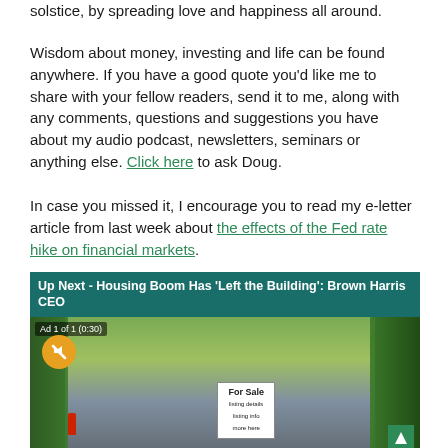solstice, by spreading love and happiness all around.
Wisdom about money, investing and life can be found anywhere. If you have a good quote you'd like me to share with your fellow readers, send it to me, along with any comments, questions and suggestions you have about my audio podcast, newsletters, seminars or anything else. Click here to ask Doug.
In case you missed it, I encourage you to read my e-letter article from last week about the effects of the Fed rate hike on financial markets.
[Figure (screenshot): Video player thumbnail showing 'Up Next - Housing Boom Has Left the Building: Brown Harris CEO' with an ad overlay label 'Ad 1 of 1 (0:30)', a mute button, a street scene with trees and a For Sale sign, and a scroll button.]